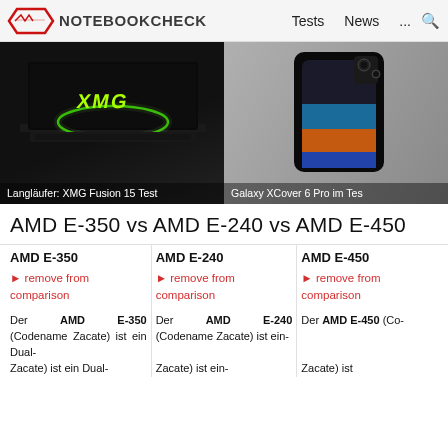NOTEBOOKCHECK — Tests  News  ...
[Figure (screenshot): Hero image left: XMG Fusion 15 laptop with green XMG logo on dark screen. Caption: Langläufer: XMG Fusion 15 Test]
[Figure (screenshot): Hero image right: Samsung Galaxy XCover 6 Pro smartphone. Caption: Galaxy XCover 6 Pro im Test]
AMD E-350 vs AMD E-240 vs AMD E-450
| AMD E-350 | AMD E-240 | AMD E-450 |
| --- | --- | --- |
| ► remove from comparison | ► remove from comparison | ► remove from comparison |
| Der AMD E-350 (Codename Zacate) ist ein Dual- | Der AMD E-240 (Codename Zacate) ist ein- | Der AMD E-450 (Co- Zacate) ist |